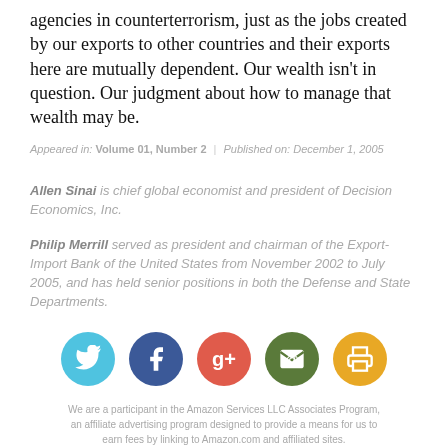agencies in counterterrorism, just as the jobs created by our exports to other countries and their exports here are mutually dependent. Our wealth isn't in question. Our judgment about how to manage that wealth may be.
Appeared in: Volume 01, Number 2 | Published on: December 1, 2005
Allen Sinai is chief global economist and president of Decision Economics, Inc.
Philip Merrill served as president and chairman of the Export-Import Bank of the United States from November 2002 to July 2005, and has held senior positions in both the Defense and State Departments.
[Figure (infographic): Row of five circular social media / sharing icons: Twitter (blue bird), Facebook (dark blue f), Google+ (orange g+), Email (green @), Print (yellow printer)]
We are a participant in the Amazon Services LLC Associates Program, an affiliate advertising program designed to provide a means for us to earn fees by linking to Amazon.com and affiliated sites.